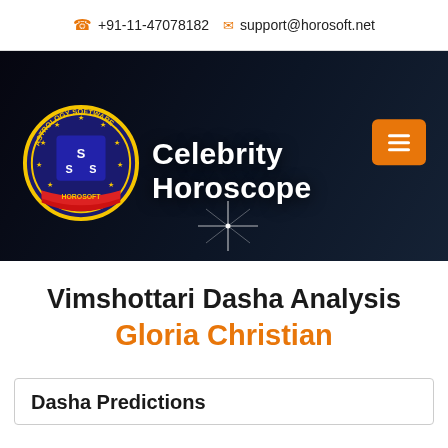+91-11-47078182   support@horosoft.net
[Figure (logo): Horosoft Astrology Software circular badge logo with 'Celebrity Horoscope' text and hamburger menu button on dark blue/black banner background]
Vimshottari Dasha Analysis
Gloria Christian
Dasha Predictions